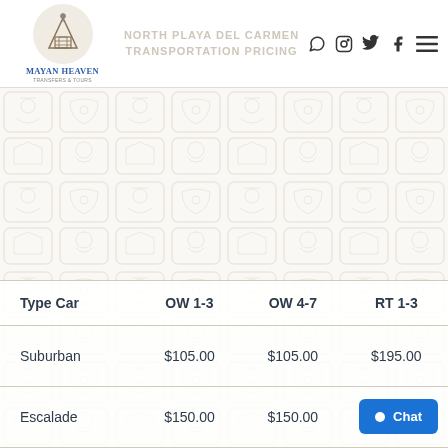[Figure (logo): Mayan Heaven Transfers & Tours logo with pyramid icon in circle]
North Playa Del Carmen Transportation Pricing
| Type Car | OW 1-3 | OW 4-7 | RT 1-3 |
| --- | --- | --- | --- |
| Suburban | $105.00 | $105.00 | $195.00 |
| Escalade | $150.00 | $150.00 | $2… |